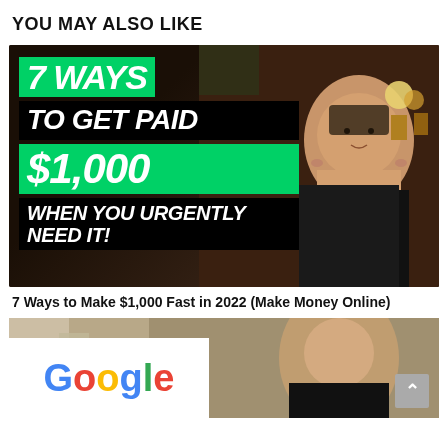YOU MAY ALSO LIKE
[Figure (screenshot): YouTube thumbnail showing a young man in black t-shirt with text overlays: green box '7 WAYS', black box 'TO GET PAID', green box '$1,000', black box 'WHEN YOU URGENTLY NEED IT!']
7 Ways to Make $1,000 Fast in 2022 (Make Money Online)
[Figure (screenshot): Partial YouTube thumbnail showing a young man with a Google logo overlay on the lower left portion of the image]